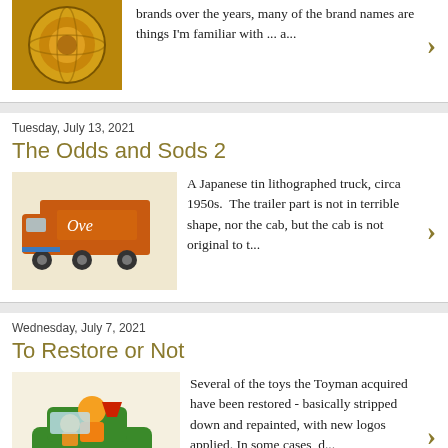[Figure (photo): Circular decorative colorful artwork thumbnail]
brands over the years, many of the brand names are things I'm familiar with ... a...
Tuesday, July 13, 2021
The Odds and Sods 2
[Figure (photo): Orange tin toy truck with 'Ove' text visible]
A Japanese tin lithographed truck, circa 1950s. The trailer part is not in terrible shape, nor the cab, but the cab is not original to t...
Wednesday, July 7, 2021
To Restore or Not
[Figure (photo): Colorful toy vehicle with cartoon characters]
Several of the toys the Toyman acquired have been restored - basically stripped down and repainted, with new logos applied. In some cases, d...
Thursday, October 1, 2020
Shout Out for Otaco Collectors